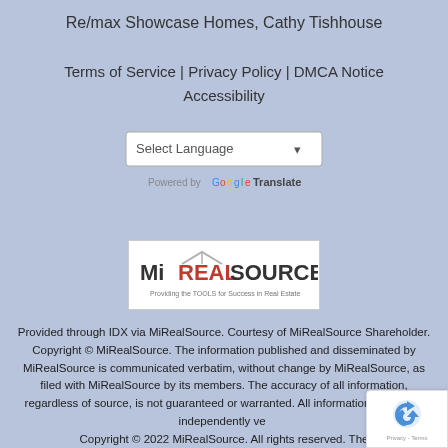Re/max Showcase Homes, Cathy Tishhouse
Terms of Service | Privacy Policy | DMCA Notice
Accessibility
[Figure (screenshot): Select Language dropdown widget with Google Translate branding]
[Figure (logo): MiREALSOURCE logo - Providing the TOOLS for Success in Real Estate]
Provided through IDX via MiRealSource. Courtesy of MiRealSource Shareholder. Copyright © MiRealSource. The information published and disseminated by MiRealSource is communicated verbatim, without change by MiRealSource, as filed with MiRealSource by its members. The accuracy of all information, regardless of source, is not guaranteed or warranted. All information should be independently verified. Copyright © 2022 MiRealSource. All rights reserved. The